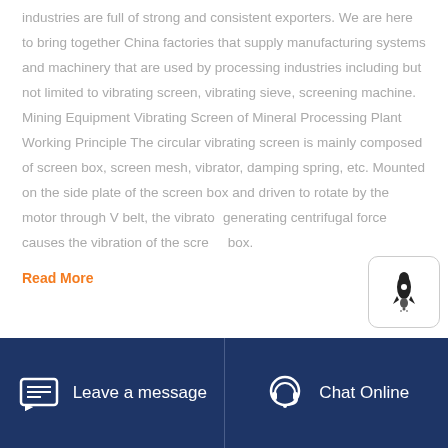industries are full of strong and consistent exporters. We are here to bring together China factories that supply manufacturing systems and machinery that are used by processing industries including but not limited to vibrating screen, vibrating sieve, screening machine. Mining Equipment Vibrating Screen of Mineral Processing Plant Working Principle The circular vibrating screen is mainly composed of screen box, screen mesh, vibrator, damping spring, etc. Mounted on the side plate of the screen box and driven to rotate by the motor through V belt, the vibrator generating centrifugal force causes the vibration of the screen box.
Read More
Leave a message  Chat Online